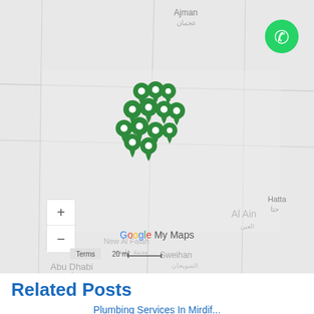[Figure (map): Google My Maps showing UAE region with cluster of green location pins near Dubai/Sharjah area. Map shows cities: Ajman, Abu Dhabi, Hatta, Sweihan, New Al Falah, Al Khaimah, Al Buheidi, Al Ain. Zoom controls (+/-) visible bottom left. Google My Maps logo and Terms/20mi scale bar at bottom.]
Related Posts
Plumbing Services In Mirdif...